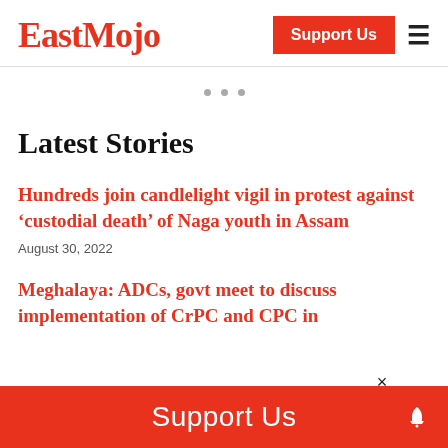EastMojo
Latest Stories
Hundreds join candlelight vigil in protest against ‘custodial death’ of Naga youth in Assam
August 30, 2022
Meghalaya: ADCs, govt meet to discuss implementation of CrPC and CPC in
Support Us